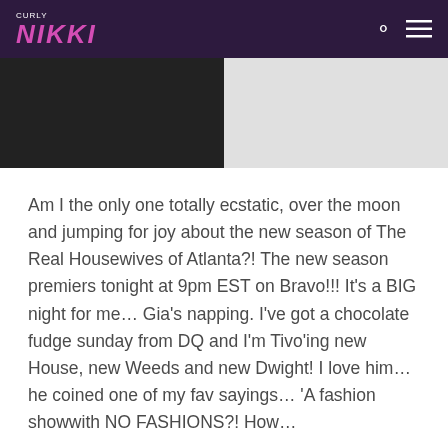CURLY NIKKI
[Figure (photo): Two people photographed together, one in a black outfit and one in a white shirt, cropped to show their torsos]
Am I the only one totally ecstatic, over the moon and jumping for joy about the new season of The Real Housewives of Atlanta?! The new season premiers tonight at 9pm EST on Bravo!!! It's a BIG night for me… Gia's napping. I've got a chocolate fudge sunday from DQ and I'm Tivo'ing new House, new Weeds and new Dwight! I love him… he coined one of my fav sayings… 'A fashion showwith NO FASHIONS?! How...